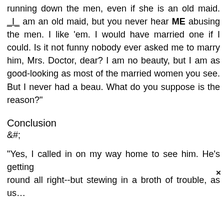running down the men, even if she is an old maid. _I_ am an old maid, but you never hear ME abusing the men. I like 'em. I would have married one if I could. Is it not funny nobody ever asked me to marry him, Mrs. Doctor, dear? I am no beauty, but I am as good-looking as most of the married women you see. But I never had a beau. What do you suppose is the reason?"
Conclusion
&#;
"Yes, I called in on my way home to see him. He's getting round all right--but stewing in a broth of trouble, as us...